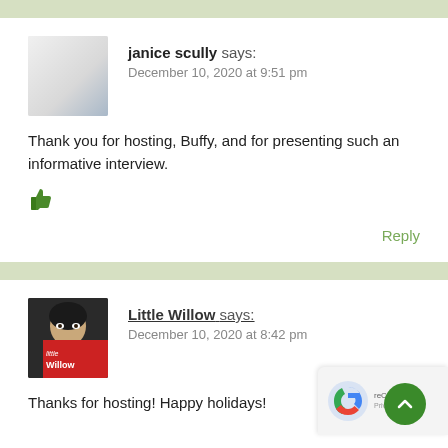[Figure (photo): Gray/blue gradient avatar placeholder for janice scully]
janice scully says:
December 10, 2020 at 9:51 pm
Thank you for hosting, Buffy, and for presenting such an informative interview.
[Figure (illustration): Green thumbs up emoji/icon]
Reply
[Figure (photo): Avatar photo of Little Willow with dark hair partially hiding face behind a red book cover with 'little Willow' text]
Little Willow says:
December 10, 2020 at 8:42 pm
Thanks for hosting! Happy holidays!